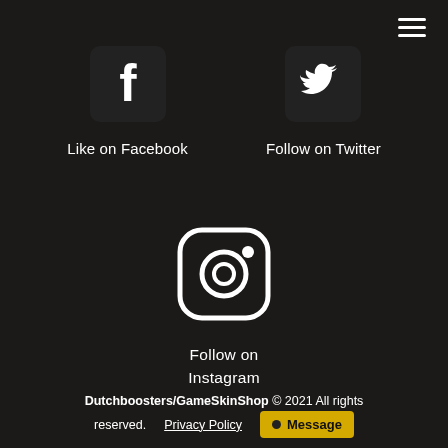[Figure (logo): Hamburger menu icon (three horizontal white lines) in top-right corner]
[Figure (logo): Facebook logo icon (white F on dark square with rounded corners)]
Like on Facebook
[Figure (logo): Twitter logo icon (white bird on dark square with rounded corners)]
Follow on Twitter
[Figure (logo): Instagram logo icon (white camera outline on dark rounded square)]
Follow on
Instagram
Dutchboosters/GameSkinShop © 2021 All rights reserved.   Privacy Policy   • Message